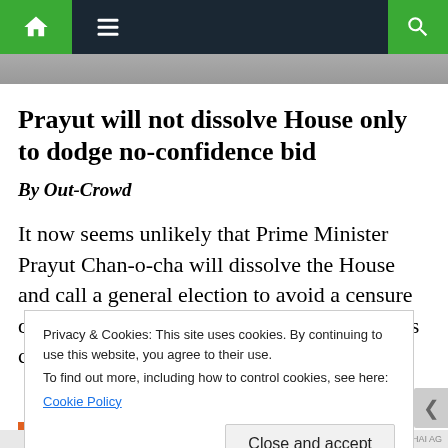Navigation bar with home, menu, and search icons
[Figure (photo): Partial photo visible at top of page below navigation bar]
Prayut will not dissolve House only to dodge no-confidence bid
By Out-Crowd
It now seems unlikely that Prime Minister Prayut Chan-o-cha will dissolve the House and call a general election to avoid a censure debate because it is uncertain how many MPs coalition
Privacy & Cookies: This site uses cookies. By continuing to use this website, you agree to their use.
To find out more, including how to control cookies, see here:
Cookie Policy
Close and accept